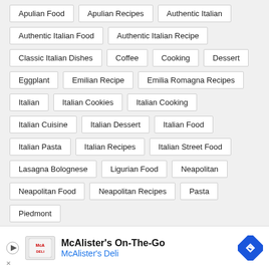Apulian Food
Apulian Recipes
Authentic Italian
Authentic Italian Food
Authentic Italian Recipe
Classic Italian Dishes
Coffee
Cooking
Dessert
Eggplant
Emilian Recipe
Emilia Romagna Recipes
Italian
Italian Cookies
Italian Cooking
Italian Cuisine
Italian Dessert
Italian Food
Italian Pasta
Italian Recipes
Italian Street Food
Lasagna Bolognese
Ligurian Food
Neapolitan
Neapolitan Food
Neapolitan Recipes
Pasta
Piedmont
[Figure (infographic): McAlister's On-The-Go advertisement banner with McAlister's Deli logo, play button, and navigation arrow icon]